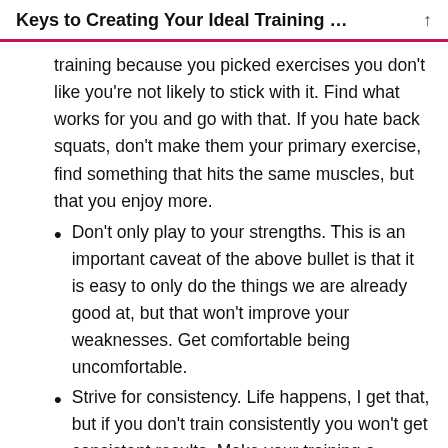Keys to Creating Your Ideal Training …
training because you picked exercises you don't like you're not likely to stick with it. Find what works for you and go with that. If you hate back squats, don't make them your primary exercise, find something that hits the same muscles, but that you enjoy more.
Don't only play to your strengths. This is an important caveat of the above bullet is that it is easy to only do the things we are already good at, but that won't improve your weaknesses. Get comfortable being uncomfortable.
Strive for consistency. Life happens, I get that, but if you don't train consistently you won't get consistent results. Make your training a priority